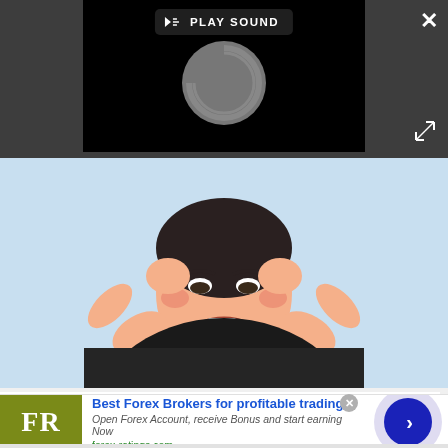[Figure (screenshot): Video player overlay on dark gray background showing a black video area with a 'PLAY SOUND' button and a loading spinner circle. A white X close button appears top right, and a diagonal expand arrow bottom right.]
[Figure (illustration): Cartoon illustration of a person with short dark hair holding their head with both hands, grimacing in pain, representing a migraine headache. Light blue background.]
What Causes Migraine - It’s Not What Most People Think.
Migraine Remedy | Sponsored
[Figure (advertisement): Forex Ratings advertisement banner. FR logo in olive/green box on left. Blue heading 'Best Forex Brokers for profitable trading', italic text 'Open Forex Account, receive Bonus and start earning Now', green URL 'forex-ratings.com'. Right side has a blue circle with right-pointing chevron arrow and a translucent purple outer ring.]